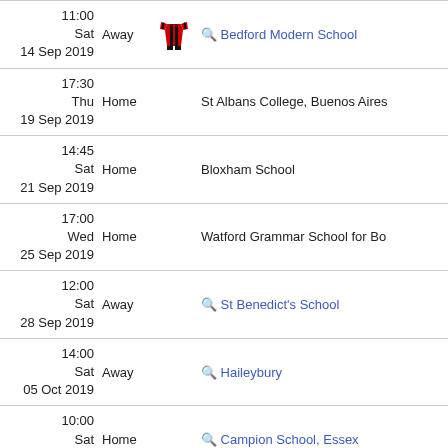| Date/Time | Location | Icon | Opponent |
| --- | --- | --- | --- |
| 11:00
Sat
14 Sep 2019 | Away | [kit] | Bedford Modern School |
| 17:30
Thu
19 Sep 2019 | Home |  | St Albans College, Buenos Aires |
| 14:45
Sat
21 Sep 2019 | Home |  | Bloxham School |
| 17:00
Wed
25 Sep 2019 | Home |  | Watford Grammar School for Bo |
| 12:00
Sat
28 Sep 2019 | Away | [search] | St Benedict's School |
| 14:00
Sat
05 Oct 2019 | Away | [search] | Haileybury |
| 10:00
Sat
12 Oct 2019 | Home | [search] | Campion School, Essex |